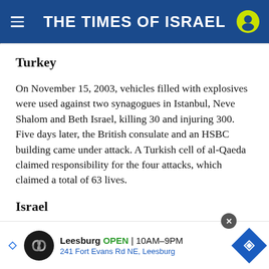THE TIMES OF ISRAEL
Turkey
On November 15, 2003, vehicles filled with explosives were used against two synagogues in Istanbul, Neve Shalom and Beth Israel, killing 30 and injuring 300. Five days later, the British consulate and an HSBC building came under attack. A Turkish cell of al-Qaeda claimed responsibility for the four attacks, which claimed a total of 63 lives.
Israel
On November 18, 2014, a terror attack by two Palest...
[Figure (other): Advertisement banner: Leesburg OPEN 10AM-9PM, 241 Fort Evans Rd NE, Leesburg, with navigation icon and logo]